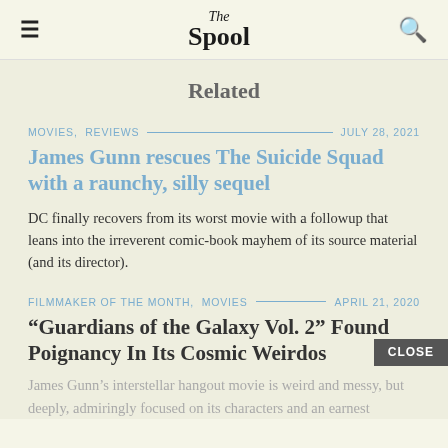The Spool
Related
MOVIES,  REVIEWS — JULY 28, 2021
James Gunn rescues The Suicide Squad with a raunchy, silly sequel
DC finally recovers from its worst movie with a followup that leans into the irreverent comic-book mayhem of its source material (and its director).
FILMMAKER OF THE MONTH,  MOVIES — APRIL 21, 2020
“Guardians of the Galaxy Vol. 2” Found Poignancy In Its Cosmic Weirdos
James Gunn’s interstellar hangout movie is weird and messy, but deeply, admiringly focused on its characters and an earnest